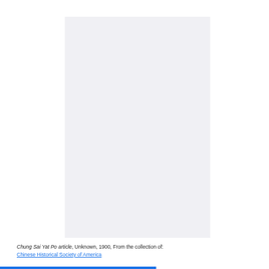[Figure (photo): A blank or very light gray rectangular image placeholder representing a scanned document page (Chung Sai Yat Po article).]
Chung Sai Yat Po article, Unknown, 1900, From the collection of: Chinese Historical Society of America